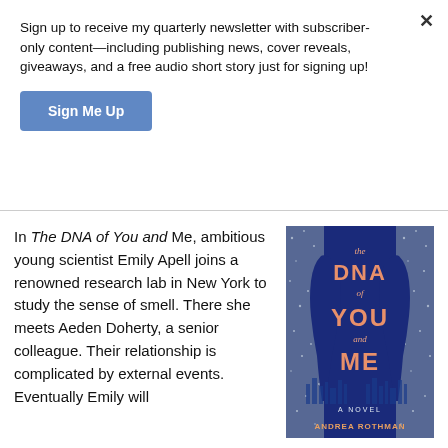Sign up to receive my quarterly newsletter with subscriber-only content—including publishing news, cover reveals, giveaways, and a free audio short story just for signing up!
Sign Me Up
In The DNA of You and Me, ambitious young scientist Emily Apell joins a renowned research lab in New York to study the sense of smell. There she meets Aeden Doherty, a senior colleague. Their relationship is complicated by external events. Eventually Emily will
[Figure (illustration): Book cover of 'The DNA of You and Me, A Novel' by Andrea Rothman. Dark blue background with silver sparkle texture on sides, two silhouetted profiles facing each other in center. Title text in salmon/coral color reads: 'the DNA of YOU and ME'. Bottom reads 'A NOVEL' and 'ANDREA ROTHMAN'.]